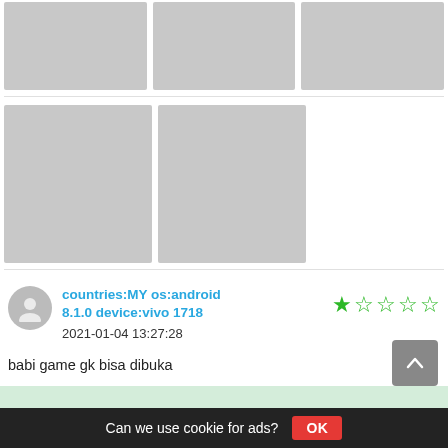[Figure (photo): Three gray placeholder image boxes in a row (top row)]
[Figure (photo): Two gray placeholder image boxes in a row (bottom row)]
countries:MY os:android 8.1.0 device:vivo 1718
2021-01-04 13:27:28
[Figure (other): 1 out of 5 star rating in green]
babi game gk bisa dibuka
Can we use cookie for ads? OK